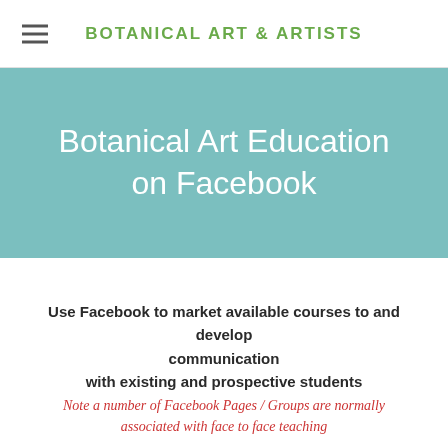BOTANICAL ART & ARTISTS
Botanical Art Education on Facebook
Use Facebook to market available courses to and develop communication with existing and prospective students
Note a number of Facebook Pages / Groups are normally associated with face to face teaching